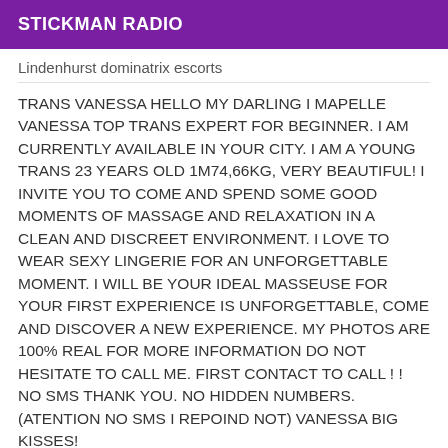STICKMAN RADIO
Lindenhurst dominatrix escorts
TRANS VANESSA HELLO MY DARLING I MAPELLE VANESSA TOP TRANS EXPERT FOR BEGINNER. I AM CURRENTLY AVAILABLE IN YOUR CITY. I AM A YOUNG TRANS 23 YEARS OLD 1M74,66KG, VERY BEAUTIFUL! I INVITE YOU TO COME AND SPEND SOME GOOD MOMENTS OF MASSAGE AND RELAXATION IN A CLEAN AND DISCREET ENVIRONMENT. I LOVE TO WEAR SEXY LINGERIE FOR AN UNFORGETTABLE MOMENT. I WILL BE YOUR IDEAL MASSEUSE FOR YOUR FIRST EXPERIENCE IS UNFORGETTABLE, COME AND DISCOVER A NEW EXPERIENCE. MY PHOTOS ARE 100% REAL FOR MORE INFORMATION DO NOT HESITATE TO CALL ME. FIRST CONTACT TO CALL ! ! NO SMS THANK YOU. NO HIDDEN NUMBERS. (ATENTION NO SMS I REPOIND NOT) VANESSA BIG KISSES!